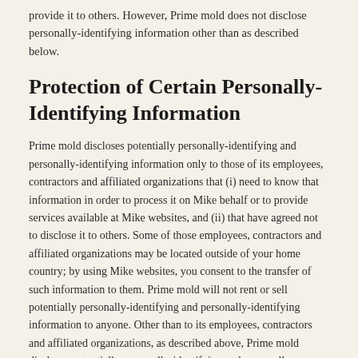provide it to others. However, Prime mold does not disclose personally-identifying information other than as described below.
Protection of Certain Personally-Identifying Information
Prime mold discloses potentially personally-identifying and personally-identifying information only to those of its employees, contractors and affiliated organizations that (i) need to know that information in order to process it on Mike behalf or to provide services available at Mike websites, and (ii) that have agreed not to disclose it to others. Some of those employees, contractors and affiliated organizations may be located outside of your home country; by using Mike websites, you consent to the transfer of such information to them. Prime mold will not rent or sell potentially personally-identifying and personally-identifying information to anyone. Other than to its employees, contractors and affiliated organizations, as described above, Prime mold discloses potentially personally-identifying and personally-identifying information only in response to a subpoena, court order or other governmental request, or when Prime mold believes in good faith that disclosure is reasonably necessary to protect the property or rights of Prime mold , third parties or the public at large. If you are a registered user of an Prime mold